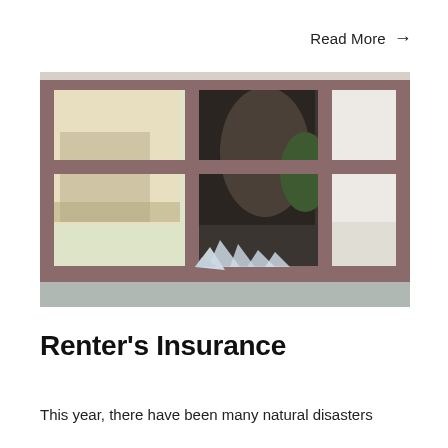Read More →
[Figure (photo): A broken window with wooden frames, shattered glass visible on the windowsill and a dark silhouette visible through the broken pane.]
Renter's Insurance
This year, there have been many natural disasters